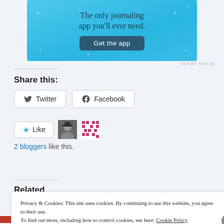[Figure (screenshot): App advertisement banner with light blue background, text 'The only journaling app you'll ever need.' and a 'Get the app' button]
REPORT THIS AD
Share this:
Twitter Facebook (share buttons)
Like  2 bloggers like this.
Related
Privacy & Cookies: This site uses cookies. By continuing to use this website, you agree to their use. To find out more, including how to control cookies, see here: Cookie Policy
Close and accept